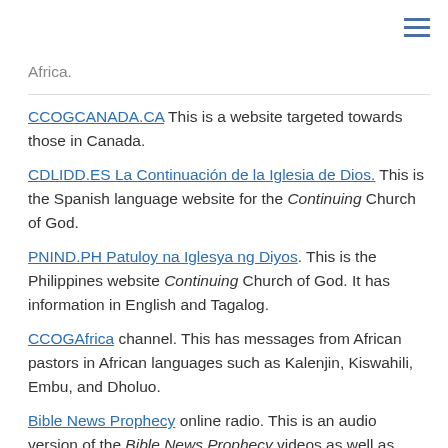≡ (hamburger menu icon)
Africa.
CCOGCANADA.CA This is a website targeted towards those in Canada.
CDLIDD.ES La Continuación de la Iglesia de Dios. This is the Spanish language website for the Continuing Church of God.
PNIND.PH Patuloy na Iglesya ng Diyos. This is the Philippines website Continuing Church of God. It has information in English and Tagalog.
CCOGAfrica channel. This has messages from African pastors in African languages such as Kalenjin, Kiswahili, Embu, and Dholuo.
Bible News Prophecy online radio. This is an audio version of the Bible News Prophecy videos as well as some ContinuingCOG channel sermons. It is also available as